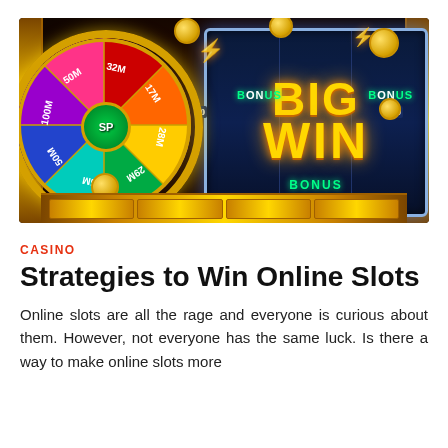[Figure (illustration): Casino online slots promotional image showing a colorful prize spin wheel on the left with segments labeled 100M, 50M, 32M, 17M, 28M, 29M, 25M, 50M and a green SP center, alongside a slot machine screen displaying 'BIG WIN' in golden text with BONUS labels, gold coins, and gold bars]
CASINO
Strategies to Win Online Slots
Online slots are all the rage and everyone is curious about them. However, not everyone has the same luck. Is there a way to make online slots more